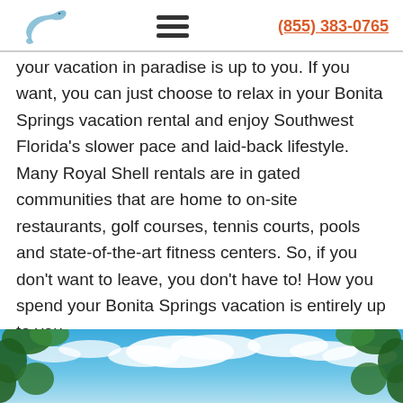(855) 383-0765
your vacation in paradise is up to you. If you want, you can just choose to relax in your Bonita Springs vacation rental and enjoy Southwest Florida's slower pace and laid-back lifestyle. Many Royal Shell rentals are in gated communities that are home to on-site restaurants, golf courses, tennis courts, pools and state-of-the-art fitness centers. So, if you don't want to leave, you don't have to! How you spend your Bonita Springs vacation is entirely up to you.
[Figure (photo): Outdoor photo showing a blue sky with white clouds and green tropical leaves/foliage framing the top-left and right edges of the image.]